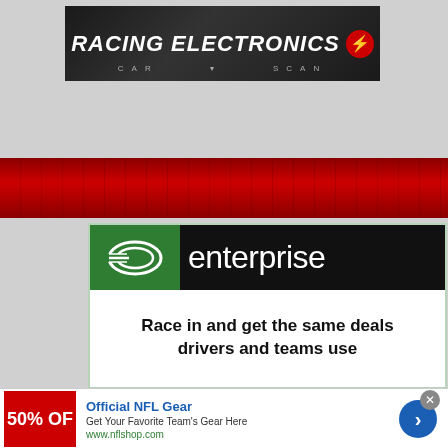[Figure (logo): Racing Electronics banner advertisement with white bold italic text on dark background with red lightning bolt icon and small subtext CAR SCAN]
[Figure (photo): Red NASCAR racing stripe background with stands and car imagery]
[Figure (logo): Enterprise Rent-A-Car advertisement with green and black logo bar and tagline: Race in and get the same deals drivers and teams use]
[Figure (logo): Official NFL Gear advertisement - Get Your Favorite Team's Gear Here - www.nflshop.com - 50% OFF red square thumbnail, blue arrow button]